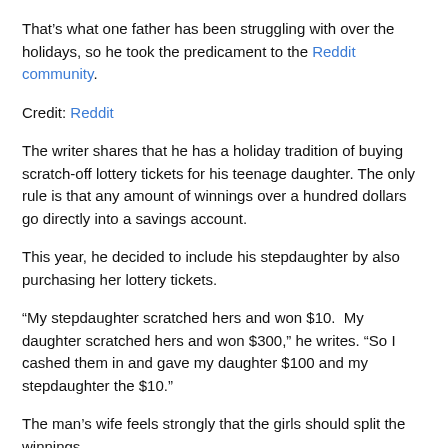That's what one father has been struggling with over the holidays, so he took the predicament to the Reddit community.
Credit: Reddit
The writer shares that he has a holiday tradition of buying scratch-off lottery tickets for his teenage daughter. The only rule is that any amount of winnings over a hundred dollars go directly into a savings account.
This year, he decided to include his stepdaughter by also purchasing her lottery tickets.
“My stepdaughter scratched hers and won $10.  My daughter scratched hers and won $300,” he writes. “So I cashed them in and gave my daughter $100 and my stepdaughter the $10.”
The man’s wife feels strongly that the girls should split the winnings.
“My stepdaughter was disappointed and my wife thinks I should have split up the money evenly so each of the girls got at least $55 to spend